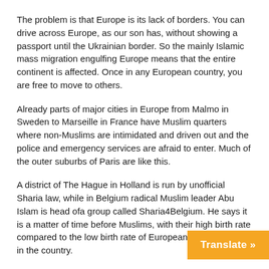The problem is that Europe is its lack of borders. You can drive across Europe, as our son has, without showing a passport until the Ukrainian border. So the mainly Islamic mass migration engulfing Europe means that the entire continent is affected. Once in any European country, you are free to move to others.
Already parts of major cities in Europe from Malmo in Sweden to Marseille in France have Muslim quarters where non-Muslims are intimidated and driven out and the police and emergency services are afraid to enter. Much of the outer suburbs of Paris are like this.
A district of The Hague in Holland is run by unofficial Sharia law, while in Belgium radical Muslim leader Abu Islam is head ofa group called Sharia4Belgium. He says it is a matter of time before Muslims, with their high birth rate compared to the low birth rate of Europeans, are a majority in the country.
At that point he hopes to impose Sharia la…
Translate »